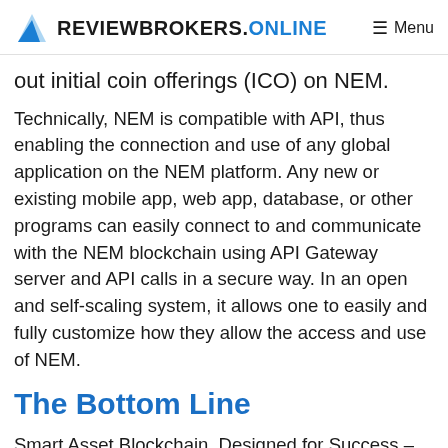REVIEWBROKERS.ONLINE  Menu
out initial coin offerings (ICO) on NEM.
Technically, NEM is compatible with API, thus enabling the connection and use of any global application on the NEM platform. Any new or existing mobile app, web app, database, or other programs can easily connect to and communicate with the NEM blockchain using API Gateway server and API calls in a secure way. In an open and self-scaling system, it allows one to easily and fully customize how they allow the access and use of NEM.
The Bottom Line
Smart Asset Blockchain, Designed for Success – NEM's philosophy beautifully sums it up for a new-age blockchain that has opened up a wide range of